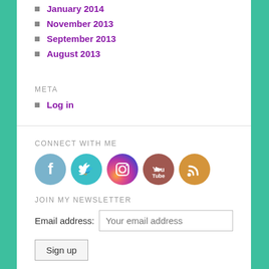January 2014
November 2013
September 2013
August 2013
META
Log in
CONNECT WITH ME
[Figure (infographic): Row of 5 social media icons: Facebook (blue circle), Twitter (teal circle), Instagram (pink/purple gradient circle), YouTube (red/brown circle), RSS (orange circle)]
JOIN MY NEWSLETTER
Email address:
Your email address
Sign up